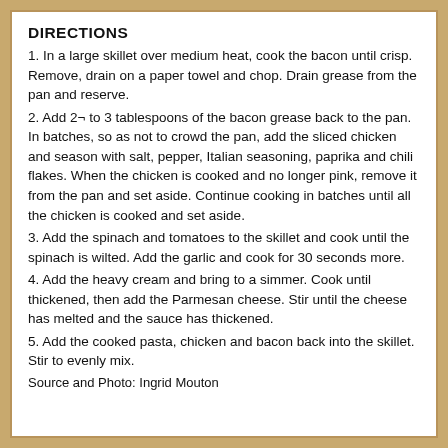DIRECTIONS
1. In a large skillet over medium heat, cook the bacon until crisp. Remove, drain on a paper towel and chop. Drain grease from the pan and reserve.
2. Add 2¬ to 3 tablespoons of the bacon grease back to the pan. In batches, so as not to crowd the pan, add the sliced chicken and season with salt, pepper, Italian seasoning, paprika and chili flakes. When the chicken is cooked and no longer pink, remove it from the pan and set aside. Continue cooking in batches until all the chicken is cooked and set aside.
3. Add the spinach and tomatoes to the skillet and cook until the spinach is wilted. Add the garlic and cook for 30 seconds more.
4. Add the heavy cream and bring to a simmer. Cook until thickened, then add the Parmesan cheese. Stir until the cheese has melted and the sauce has thickened.
5. Add the cooked pasta, chicken and bacon back into the skillet. Stir to evenly mix.
Source and Photo: Ingrid Mouton